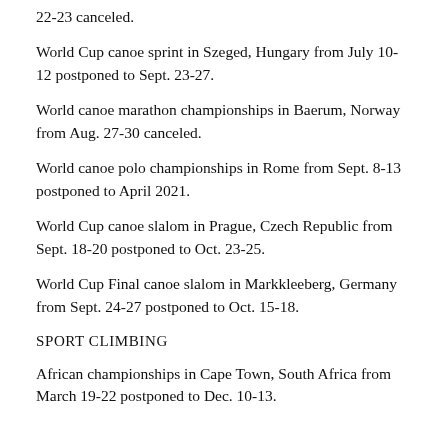22-23 canceled.
World Cup canoe sprint in Szeged, Hungary from July 10-12 postponed to Sept. 23-27.
World canoe marathon championships in Baerum, Norway from Aug. 27-30 canceled.
World canoe polo championships in Rome from Sept. 8-13 postponed to April 2021.
World Cup canoe slalom in Prague, Czech Republic from Sept. 18-20 postponed to Oct. 23-25.
World Cup Final canoe slalom in Markkleeberg, Germany from Sept. 24-27 postponed to Oct. 15-18.
SPORT CLIMBING
African championships in Cape Town, South Africa from March 19-22 postponed to Dec. 10-13.